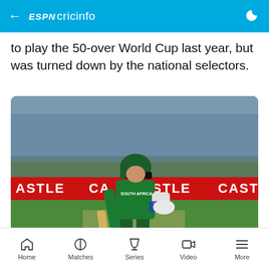ESPN cricinfo
to play the 50-over World Cup last year, but was turned down by the national selectors.
[Figure (photo): South African cricket batsman in full green South Africa kit walking on field, holding a cricket bat, with 'CASTLE' advertising boards visible in the background and a stadium crowd behind.]
Home  Matches  Series  Video  More